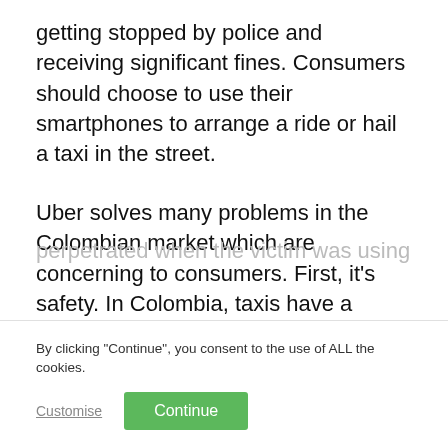getting stopped by police and receiving significant fines. Consumers should choose to use their smartphones to arrange a ride or hail a taxi in the street.
Uber solves many problems in the Colombian market which are concerning to consumers. First, it’s safety. In Colombia, taxis have a reputation of generally being unsafe. In 2018, for example, “15% of robberies were perpetrated when the victim was using a
By clicking “Continue”, you consent to the use of ALL the cookies.